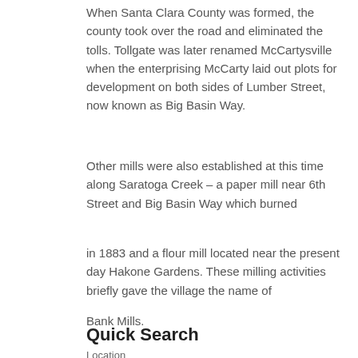When Santa Clara County was formed, the county took over the road and eliminated the tolls. Tollgate was later renamed McCartysville when the enterprising McCarty laid out plots for development on both sides of Lumber Street, now known as Big Basin Way.
Other mills were also established at this time along Saratoga Creek – a paper mill near 6th Street and Big Basin Way which burned
in 1883 and a flour mill located near the present day Hakone Gardens. These milling activities briefly gave the village the name of
Bank Mills.
Quick Search
Location